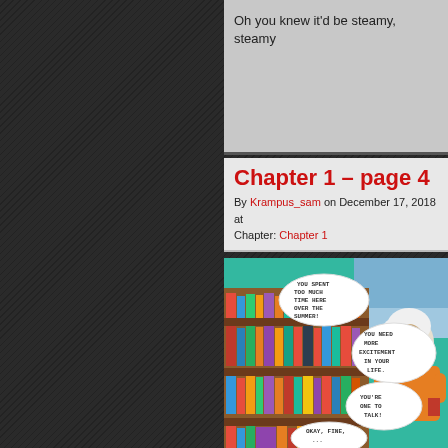Oh you knew it'd be steamy, steamy
Chapter 1 – page 4
By Krampus_sam on December 17, 2018 at
Chapter: Chapter 1
[Figure (illustration): Comic panel showing a library scene with bookshelves full of colorful books. A character with white hair and an orange sweater is visible on the right. Speech bubbles read: 'YOU SPENT TOO MUCH TIME HERE OVER THE SUMMER!', 'YOU NEED MORE EXCITEMENT IN YOUR LIFE.', 'YOU'RE ONE TO TALK!', 'OKAY, FINE.']